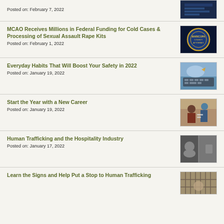MCAO Receives Millions in Federal Funding for Cold Cases & Processing of Sexual Assault Rape Kits
Posted on: February 1, 2022
Everyday Habits That Will Boost Your Safety in 2022
Posted on: January 19, 2022
Start the Year with a New Career
Posted on: January 19, 2022
Human Trafficking and the Hospitality Industry
Posted on: January 17, 2022
Learn the Signs and Help Put a Stop to Human Trafficking